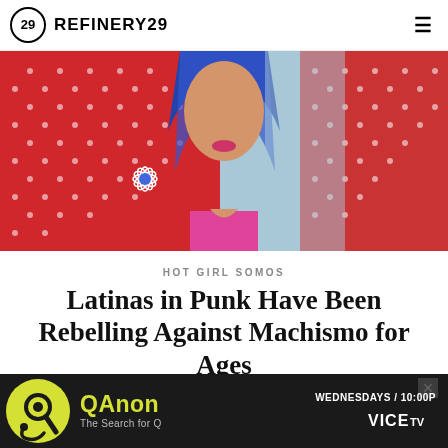REFINERY29
[Figure (photo): Close-up of a person with blue hair wearing a red polka-dot blazer with a floral brooch, over a pink top, against a colorful background]
HOT GIRL SOMOS
Latinas in Punk Have Been Rebelling Against Machismo for Ages
ISAB... L PM
[Figure (screenshot): Advertisement banner: QAnon - The Search for Q, Wednesdays 10:00P, VICE TV]